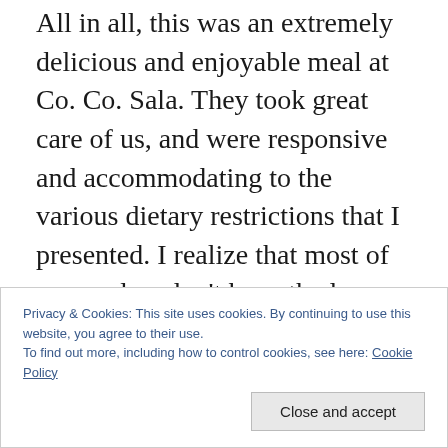All in all, this was an extremely delicious and enjoyable meal at Co. Co. Sala. They took great care of us, and were responsive and accommodating to the various dietary restrictions that I presented. I realize that most of my readers don't have the luxury of executing a dinner contract that includes directives about allergies and other restrictions. But their willingness and ability to accommodate those requests suggests that Co. Co. Sala can be a safe environment for those with restrictions. Because the menu incorporates unexpected elements, I would suggest calling ahead and discussing your needs
Privacy & Cookies: This site uses cookies. By continuing to use this website, you agree to their use.
To find out more, including how to control cookies, see here: Cookie Policy